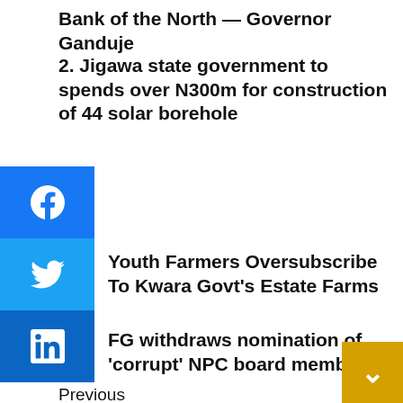Bank of the North — Governor Ganduje
2. Jigawa state government to spends over N300m for construction of 44 solar borehole
Youth Farmers Oversubscribe To Kwara Govt's Estate Farms
FG withdraws nomination of 'corrupt' NPC board members
Previous
[Figure (photo): Two men reviewing documents together]
After more than 40yrs on drawing boards, Buhari Award $5.8 Billion Mambila Dam Power Plant Contract To Chinese Firm